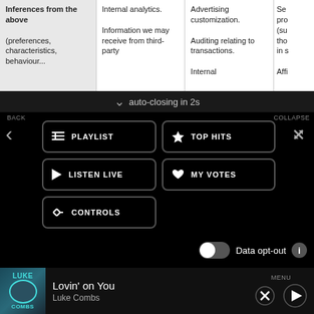| Inferences from the above | Internal analytics. | Advertising customization. | Se... |
| --- | --- | --- | --- |
| (preferences, characteristics, behaviour... | Information we may receive from third-party... | Auditing relating to transactions.

Internal... | pro
(su
tho
in s

Affi... |
auto-closing in 2s
BACK
COLLAPSE
PLAYLIST
TOP HITS
LISTEN LIVE
MY VOTES
CONTROLS
Data opt-out
[Figure (screenshot): Advertisement banner: Team up with a partner and a pet! SCHNIDER logo and Find a job button]
Lovin' on You
Luke Combs
MENU